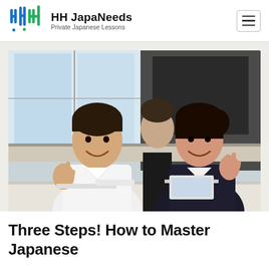HH JapaNeeds — Private Japanese Lessons
[Figure (photo): Two smiling people making peace signs at a desk in an office/classroom setting. A man in a white shirt on the left, a woman in a dark blazer on the right, with a third person visible in the background.]
Three Steps! How to Master Japanese